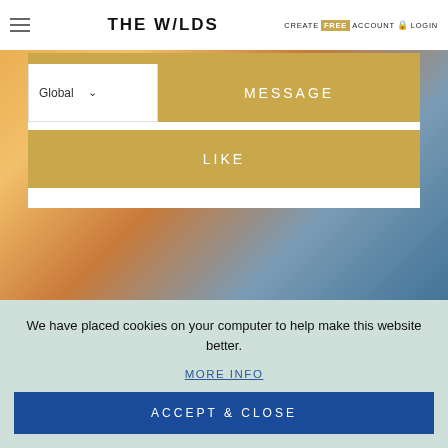THE W/LDS — CREATE FREE ACCOUNT LOGIN
[Figure (screenshot): Website screenshot showing The W/LDS outdoor/camping platform with navigation bar, dropdown labeled Global, MESSAGE button, LIKE button, and a cookie consent overlay at the bottom]
Global
MESSAGE
LIKE
We have placed cookies on your computer to help make this website better.
MORE INFO
ACCEPT & CLOSE